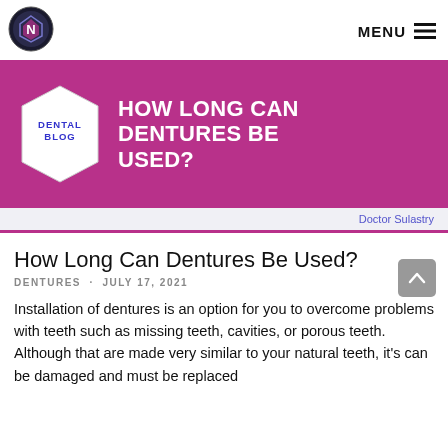[Figure (logo): Circular logo with stylized arrow/dental icon, dark blue and gray]
MENU ≡
[Figure (infographic): Purple banner with hexagon shape labeled 'DENTAL BLOG' and bold white text 'HOW LONG CAN DENTURES BE USED?']
Doctor Sulastry
How Long Can Dentures Be Used?
DENTURES · JULY 17, 2021
Installation of dentures is an option for you to overcome problems with teeth such as missing teeth, cavities, or porous teeth. Although that are made very similar to your natural teeth, it's can be damaged and must be replaced